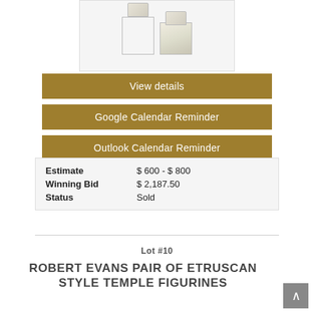[Figure (photo): Two Etruscan style temple figurines, cream/beige color, on square bases, photographed against white background]
View details
Google Calendar Reminder
Outlook Calendar Reminder
| Field | Value |
| --- | --- |
| Estimate | $ 600 - $ 800 |
| Winning Bid | $ 2,187.50 |
| Status | Sold |
Lot #10
ROBERT EVANS PAIR OF ETRUSCAN STYLE TEMPLE FIGURINES